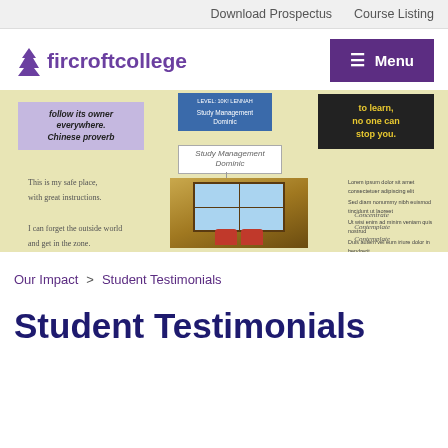Download Prospectus   Course Listing
[Figure (logo): Fircroft College logo with purple tree icon and purple text]
[Figure (photo): Photo of a student mind map on yellow paper with motivational quotes, a room photo showing red chairs and bay window, and handwritten notes about the college experience]
Our Impact > Student Testimonials
Student Testimonials